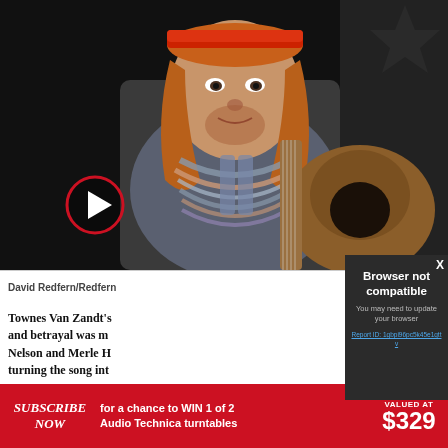[Figure (photo): Man with red bandana headband and long reddish-brown hair playing guitar on stage, wearing decorative beaded necklaces and a t-shirt. Dark background. Red circle play button overlay in lower left.]
David Redfern/Redfern
Townes Van Zandt's... and betrayal was m... Nelson and Merle H... turning the song int...
[Figure (screenshot): Browser not compatible error modal overlay on dark background. Text reads: Browser not compatible. You may need to update your browser. Report ID: 1gbpi96pc5k45e1gttv. X close button in top right.]
Browser not compatible
You may need to update your browser
Report ID: 1gbpi96pc5k45e1gttv
SUBSCRIBE NOW for a chance to WIN 1 of 2 Audio Technica turntables VALUED AT $329